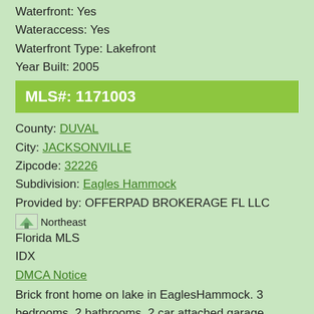Waterfront: Yes
Wateraccess: Yes
Waterfront Type: Lakefront
Year Built: 2005
MLS#: 1171003
County: DUVAL
City: JACKSONVILLE
Zipcode: 32226
Subdivision: Eagles Hammock
Provided by: OFFERPAD BROKERAGE FL LLC
[Figure (logo): Northeast Florida MLS IDX logo image]
Florida MLS
IDX
DMCA Notice
Brick front home on lake in EaglesHammock. 3 bedrooms, 2 bathrooms, 2 car attached garage. Wood look tile flooring throughout most of the home, cozy carpet in the bedrooms. Freshly painted inside and
Listing Details and 10 Additional Pictures
Request more information about this listing